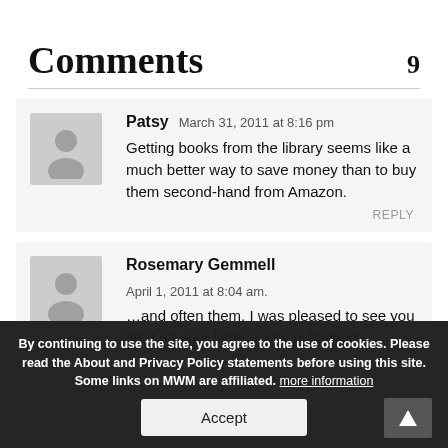Comments 9
Patsy March 31, 2011 at 8:16 pm
Getting books from the library seems like a much better way to save money than to buy them second-hand from Amazon.
REPLY
Rosemary Gemmell April 1, 2011 at 8:04 am.
[cookie banner overlay visible]
...and often [obscured] them. I was pleased to see you fired off your letter [obscured] it was published.
By continuing to use the site, you agree to the use of cookies. Please read the About and Privacy Policy statements before using this site. Some links on MWM are affiliated. more information
Accept